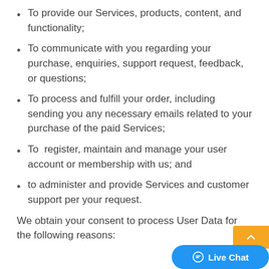To provide our Services, products, content, and functionality;
To communicate with you regarding your purchase, enquiries, support request, feedback, or questions;
To process and fulfill your order, including sending you any necessary emails related to your purchase of the paid Services;
To  register, maintain and manage your user account or membership with us; and
to administer and provide Services and customer support per your request.
We obtain your consent to process User Data for the following reasons: